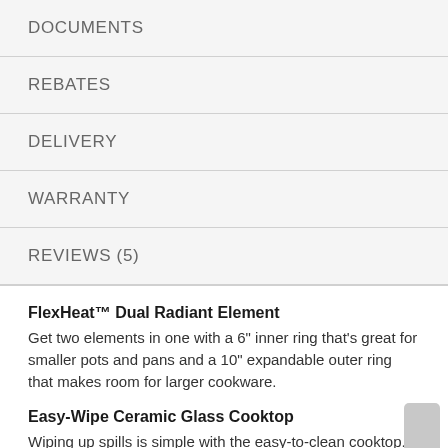DOCUMENTS
REBATES
DELIVERY
WARRANTY
REVIEWS (5)
FlexHeat™ Dual Radiant Element
Get two elements in one with a 6" inner ring that's great for smaller pots and pans and a 10" expandable outer ring that makes room for larger cookware.
Easy-Wipe Ceramic Glass Cooktop
Wiping up spills is simple with the easy-to-clean cooktop.
Warm Zone Element